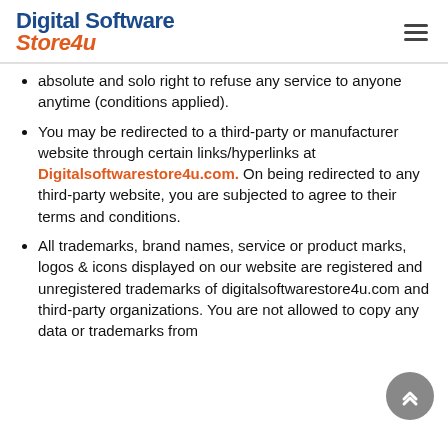Digital Software Store4u
absolute and solo right to refuse any service to anyone anytime (conditions applied).
You may be redirected to a third-party or manufacturer website through certain links/hyperlinks at Digitalsoftwarestore4u.com. On being redirected to any third-party website, you are subjected to agree to their terms and conditions.
All trademarks, brand names, service or product marks, logos & icons displayed on our website are registered and unregistered trademarks of digitalsoftwarestore4u.com and third-party organizations. You are not allowed to copy any data or trademarks from